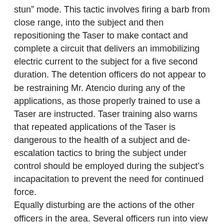stun” mode. This tactic involves firing a barb from close range, into the subject and then repositioning the Taser to make contact and complete a circuit that delivers an immobilizing electric current to the subject for a five second duration. The detention officers do not appear to be restraining Mr. Atencio during any of the applications, as those properly trained to use a Taser are instructed. Taser training also warns that repeated applications of the Taser is dangerous to the health of a subject and de-escalation tactics to bring the subject under control should be employed during the subject’s incapacitation to prevent the need for continued force.
Equally disturbing are the actions of the other officers in the area. Several officers run into view from other areas and try to join in the pile. Others appear to be mocking Mr. Atencio and laughing about the encounter. Their behavior reinforces the perception the officers have a callous disregard for Mr. Atencio’s well being.
In the holding cell, a detention officer is seen making what appears to be knee strikes to Mr. Atencio’s head. Another